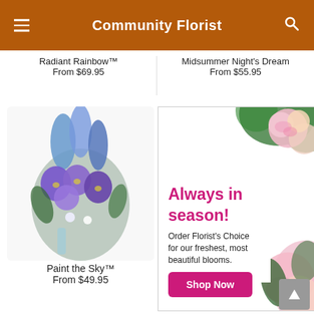Community Florist
Radiant Rainbow™
From $69.95
Midsummer Night's Dream
From $55.95
[Figure (photo): Blue and purple flower arrangement in a blue glass vase — Paint the Sky™]
Paint the Sky™
From $49.95
[Figure (infographic): Promotional banner with pink roses and greenery. Text reads: Always in season! Order Florist's Choice for our freshest, most beautiful blooms. Shop Now button.]